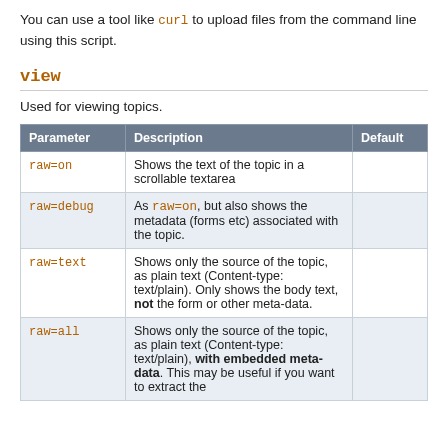You can use a tool like curl to upload files from the command line using this script.
view
Used for viewing topics.
| Parameter | Description | Default |
| --- | --- | --- |
| raw=on | Shows the text of the topic in a scrollable textarea |  |
| raw=debug | As raw=on, but also shows the metadata (forms etc) associated with the topic. |  |
| raw=text | Shows only the source of the topic, as plain text (Content-type: text/plain). Only shows the body text, not the form or other meta-data. |  |
| raw=all | Shows only the source of the topic, as plain text (Content-type: text/plain), with embedded meta-data. This may be useful if you want to extract the |  |